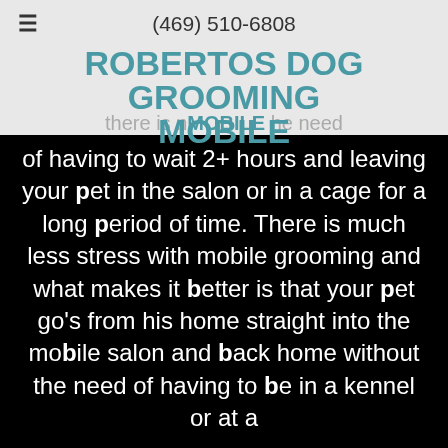(469) 510-6808
ROBERTOS DOG GROOMING MOBILE
there is no the need of having to wait 2+ hours and leaving your pet in the salon or in a cage for a long period of time. There is much less stress with mobile grooming and what makes it better is that your pet go's from his home straight into the mobile salon and back home without the need of having to be in a kennel or at a